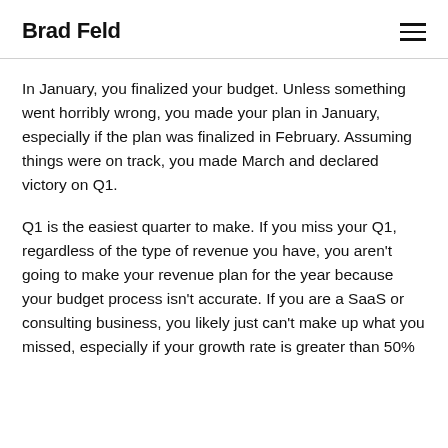Brad Feld
In January, you finalized your budget. Unless something went horribly wrong, you made your plan in January, especially if the plan was finalized in February. Assuming things were on track, you made March and declared victory on Q1.
Q1 is the easiest quarter to make. If you miss your Q1, regardless of the type of revenue you have, you aren't going to make your revenue plan for the year because your budget process isn't accurate. If you are a SaaS or consulting business, you likely just can't make up what you missed, especially if your growth rate is greater than 50%